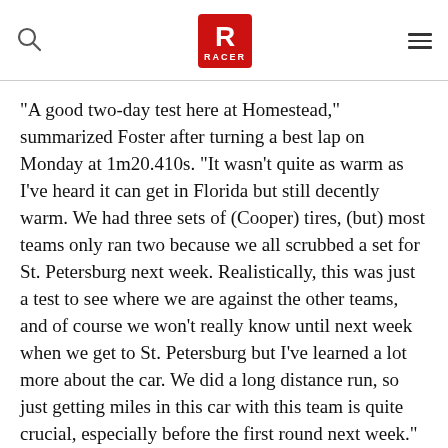RACER (logo)
“A good two-day test here at Homestead,” summarized Foster after turning a best lap on Monday at 1m20.410s. “It wasn’t quite as warm as I’ve heard it can get in Florida but still decently warm. We had three sets of (Cooper) tires, (but) most teams only ran two because we all scrubbed a set for St. Petersburg next week. Realistically, this was just a test to see where we are against the other teams, and of course we won’t really know until next week when we get to St. Petersburg but I’ve learned a lot more about the car. We did a long distance run, so just getting miles in this car with this team is quite crucial, especially before the first round next week.”
ADVERTISEMENT